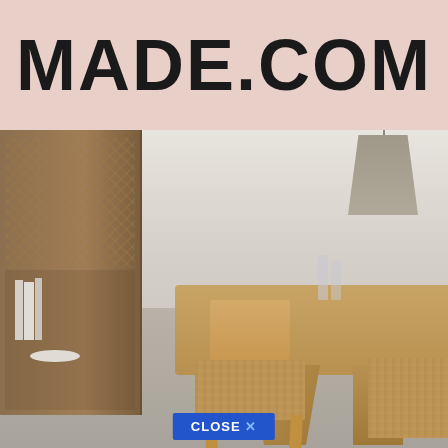[Figure (logo): MADE.COM logo in large bold black text on a dusty rose/blush pink background]
[Figure (photo): Scandinavian-style dining room with a light oak dining table with angled legs, two rattan-seat wooden chairs, a rattan/glass display cabinet on the left, and a grey pendant lamp hanging from the ceiling on the right. Items on the table include glass bottles and small objects.]
CLOSE X